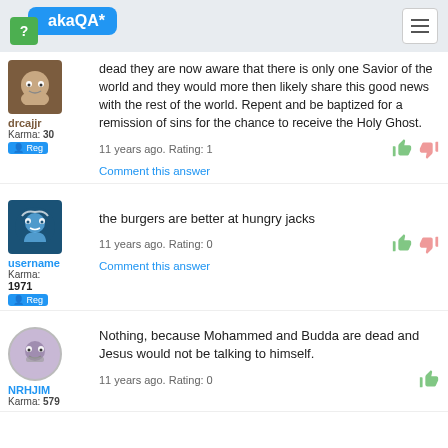akaQA*
dead they are now aware that there is only one Savior of the world and they would more then likely share this good news with the rest of the world. Repent and be baptized for a remission of sins for the chance to receive the Holy Ghost.
11 years ago. Rating: 1
Comment this answer
the burgers are better at hungry jacks
11 years ago. Rating: 0
Comment this answer
Nothing, because Mohammed and Budda are dead and Jesus would not be talking to himself.
11 years ago. Rating: 0